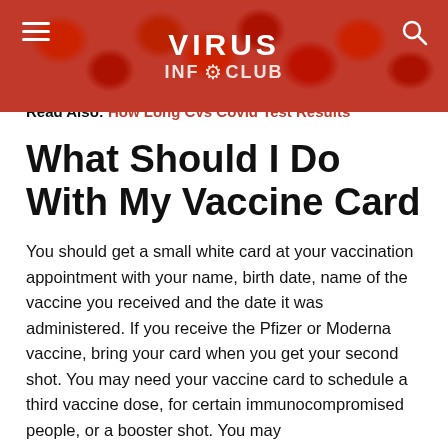VIRUS INF⚙ CLUB
next to impossible for them to travel to a vaccination site, let alone stand in line at a mass vaccination event.
Read Also: How Long Cvs Covid Test Results
What Should I Do With My Vaccine Card
You should get a small white card at your vaccination appointment with your name, birth date, name of the vaccine you received and the date it was administered. If you receive the Pfizer or Moderna vaccine, bring your card when you get your second shot. You may need your vaccine card to schedule a third vaccine dose, for certain immunocompromised people, or a booster shot. You may